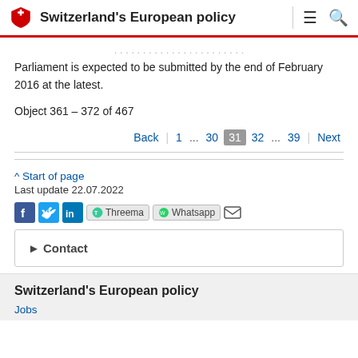Switzerland's European policy
Parliament is expected to be submitted by the end of February 2016 at the latest.
Object 361 – 372 of 467
Back | 1 ... 30 31 32 ... 39 | Next
^ Start of page
Last update 22.07.2022
Contact
Switzerland's European policy
Jobs